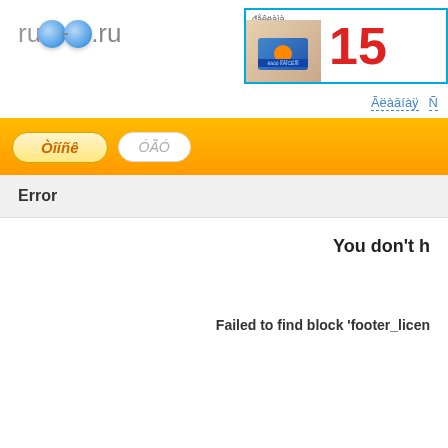[Figure (logo): ru09.ru logo with blue lens glasses icon and gray text]
[Figure (photo): Advertisement banner with blue border showing a card image and large red number 15]
Āëàāíàÿ  Ñ
Òîíñê
ÓÃÓ
Error
You don't h
Failed to find block 'footer_licen